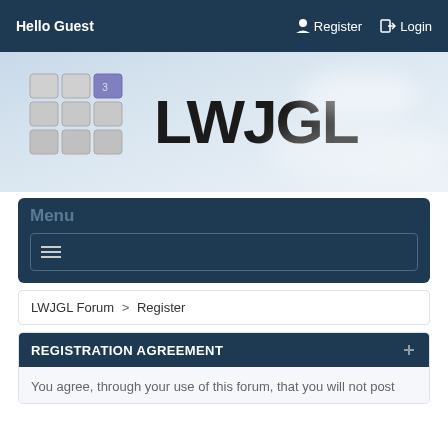Hello Guest   Register   Login
[Figure (logo): LWJGL logo with keyboard keys graphic and LWJGL text]
Menu
LWJGL Forum > Register
REGISTRATION AGREEMENT
You agree, through your use of this forum, that you will not post